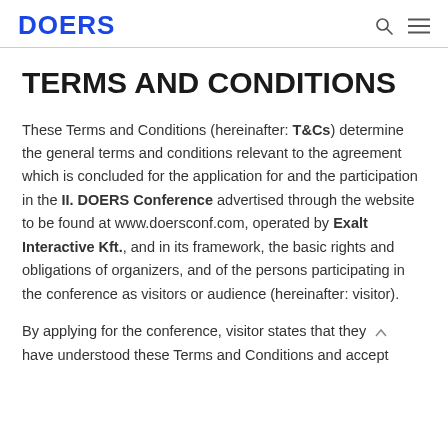DOERS
TERMS AND CONDITIONS
These Terms and Conditions (hereinafter: T&Cs) determine the general terms and conditions relevant to the agreement which is concluded for the application for and the participation in the II. DOERS Conference advertised through the website to be found at www.doersconf.com, operated by Exalt Interactive Kft., and in its framework, the basic rights and obligations of organizers, and of the persons participating in the conference as visitors or audience (hereinafter: visitor).
By applying for the conference, visitor states that they have understood these Terms and Conditions and accept